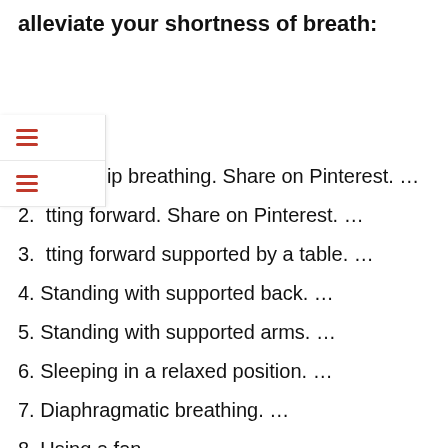alleviate your shortness of breath:
1. Pursed-lip breathing. Share on Pinterest. …
2. Sitting forward. Share on Pinterest. …
3. Sitting forward supported by a table. …
4. Standing with supported back. …
5. Standing with supported arms. …
6. Sleeping in a relaxed position. …
7. Diaphragmatic breathing. …
8. Using a fan.
Why do I feel suffocated?
Shortness of breath — known medically as dyspnea — is often described as an intense tightening in the chest, air hunger, difficulty breathing, breathlessness or a